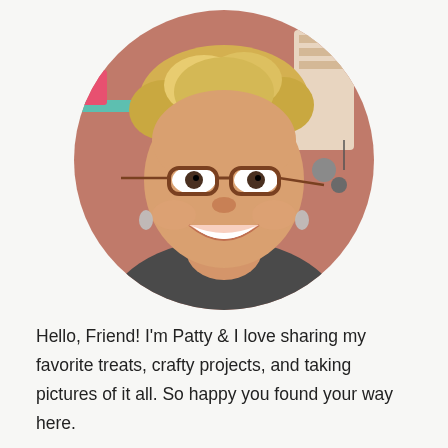[Figure (photo): Circular cropped portrait photo of a smiling woman with short blonde/highlighted hair, wearing tortoiseshell glasses and small earrings, with a colorful crafting studio in the background.]
Hello, Friend! I'm Patty & I love sharing my favorite treats, crafty projects, and taking pictures of it all. So happy you found your way here.